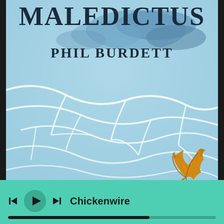[Figure (illustration): Book cover of 'Maledictus' by Phil Burdett. The cover art shows a blue, water-like or sky-like swirling background with white curving lines resembling ripples or clouds. In the bottom right area, there is an orange/golden autumn leaf. The title 'MALEDICTUS' appears in large serif font at the top, and 'PHIL BURDETT' appears below it in smaller serif font, both in dark navy/black text.]
MALEDICTUS
PHIL BURDETT
Chickenwire